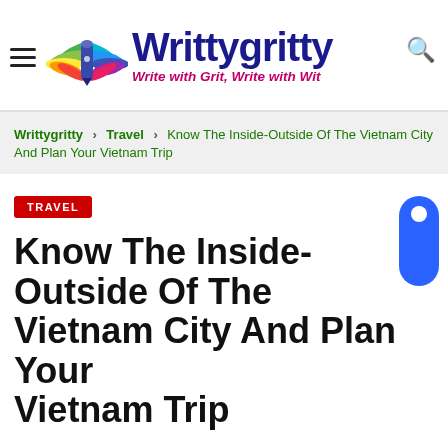Writtygritty — Write with Grit, Write with Wit
Writtygritty > Travel > Know The Inside-Outside Of The Vietnam City And Plan Your Vietnam Trip
TRAVEL
Know The Inside-Outside Of The Vietnam City And Plan Your Vietnam Trip